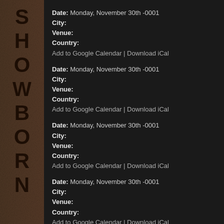[Figure (illustration): Vertical text banner on left side reading 'SHOWBORN' or similar band/event name in distressed grunge lettering, dark brown/orange tones on textured background]
Date: Monday, November 30th -0001
City:
Venue:
Country:
Add to Google Calendar | Download iCal
Date: Monday, November 30th -0001
City:
Venue:
Country:
Add to Google Calendar | Download iCal
Date: Monday, November 30th -0001
City:
Venue:
Country:
Add to Google Calendar | Download iCal
Date: Monday, November 30th -0001
City:
Venue:
Country:
Add to Google Calendar | Download iCal